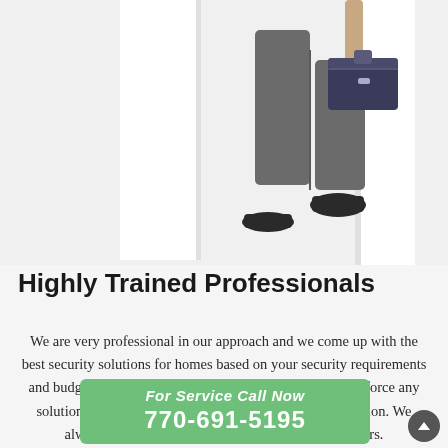[Figure (photo): A person in grey trousers and dark shoes carrying a toolbox, walking through a white door frame, photographed from waist down against a white background.]
Highly Trained Professionals
We are very professional in our approach and we come up with the best security solutions for homes based on your security requirements and budget. As a reputed locksmith company, we will not force any solutions on our customers based on commercial motivation. We always keep in mind the best interest of our customers.
For Service Call Now
770-691-5195